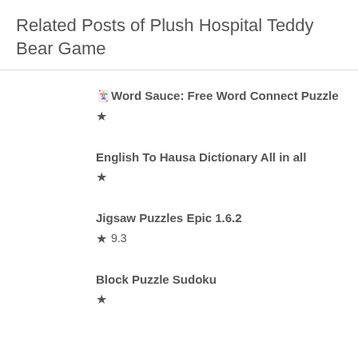Related Posts of Plush Hospital Teddy Bear Game
🃏Word Sauce: Free Word Connect Puzzle ★
English To Hausa Dictionary All in all ★
Jigsaw Puzzles Epic 1.6.2 ★ 9.3
Block Puzzle Sudoku ★